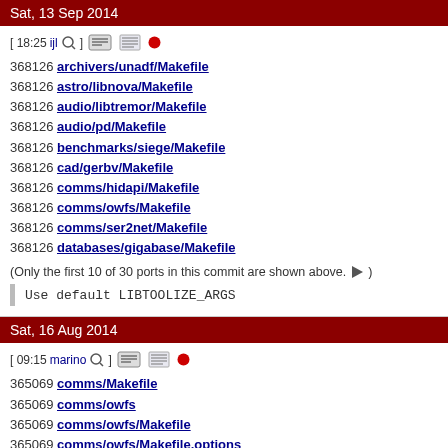Sat, 13 Sep 2014
[ 18:25 ijl ] [icons]
368126 archivers/unadf/Makefile
368126 astro/libnova/Makefile
368126 audio/libtremor/Makefile
368126 audio/pd/Makefile
368126 benchmarks/siege/Makefile
368126 cad/gerbv/Makefile
368126 comms/hidapi/Makefile
368126 comms/owfs/Makefile
368126 comms/ser2net/Makefile
368126 databases/gigabase/Makefile
(Only the first 10 of 30 ports in this commit are shown above. [►])
Use default LIBTOOLIZE_ARGS
Sat, 16 Aug 2014
[ 09:15 marino ] [icons]
365069 comms/Makefile
365069 comms/owfs
365069 comms/owfs/Makefile
365069 comms/owfs/Makefile.options